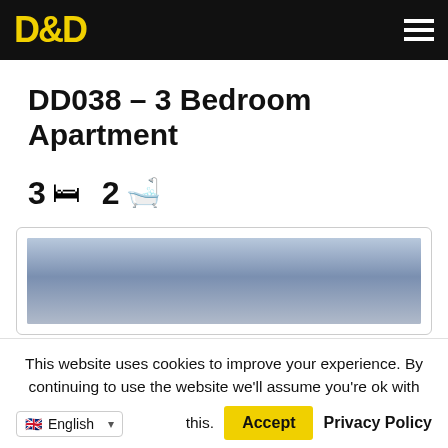D&D
DD038 – 3 Bedroom Apartment
3 🛏 2 🛁
[Figure (photo): Apartment listing photo placeholder — blue gradient sky/background]
This website uses cookies to improve your experience. By continuing to use the website we'll assume you're ok with this. Accept  Privacy Policy
English